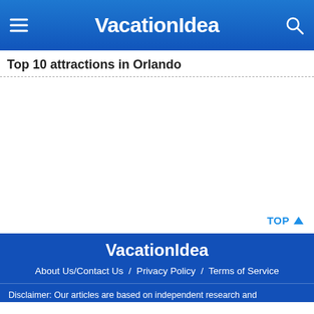VacationIdea
Top 10 attractions in Orlando
TOP ▲
VacationIdea
About Us/Contact Us / Privacy Policy / Terms of Service
Disclaimer: Our articles are based on independent research and